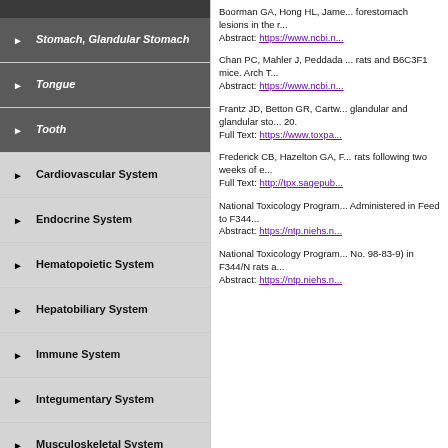Stomach, Glandular Stomach
Tongue
Tooth
Cardiovascular System
Endocrine System
Hematopoietic System
Hepatobiliary System
Immune System
Integumentary System
Musculoskeletal System
Nervous System
Reproductive System, Female
Reproductive System, Male
Boorman GA, Hong HL, Jame... forestomach lesions in the r... Abstract: https://www.ncbi.n...
Chan PC, Mahler J, Peddada... rats and B6C3F1 mice. Arch T... Abstract: https://www.ncbi.n...
Frantz JD, Betton GR, Cartw... glandular and glandular sto... 20. Full Text: https://www.toxpa...
Frederick CB, Hazelton GA, F... rats following two weeks of e... Full Text: http://tpx.sagepub...
National Toxicology Program... Administered in Feed to F344... Abstract: https://ntp.niehs.n...
National Toxicology Program... No. 98-83-9) in F344/N rats a... Abstract: https://ntp.niehs.n...